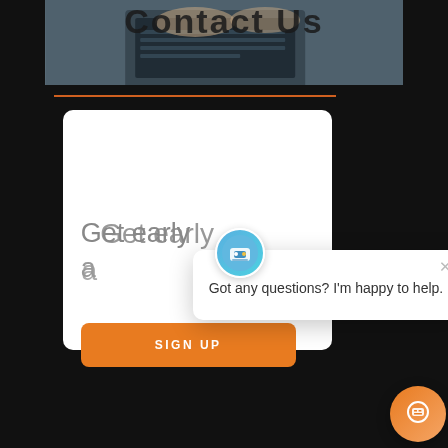[Figure (photo): Person typing on a laptop keyboard, cropped header photo]
Contact Us
[Figure (screenshot): Website screenshot showing 'Get early access' text, orange SIGN UP button, and a chat widget popup saying 'Got any questions? I'm happy to help.']
Got any questions? I'm happy to help.